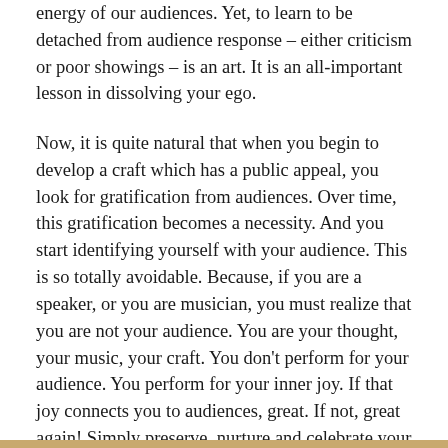energy of our audiences. Yet, to learn to be detached from audience response – either criticism or poor showings – is an art. It is an all-important lesson in dissolving your ego.
Now, it is quite natural that when you begin to develop a craft which has a public appeal, you look for gratification from audiences. Over time, this gratification becomes a necessity. And you start identifying yourself with your audience. This is so totally avoidable. Because, if you are a speaker, or you are musician, you must realize that you are not your audience. You are your thought, your music, your craft. You don't perform for your audience. You perform for your inner joy. If that joy connects you to audiences, great. If not, great again! Simply preserve, nurture and celebrate your inner joy – through your expression, your performance!